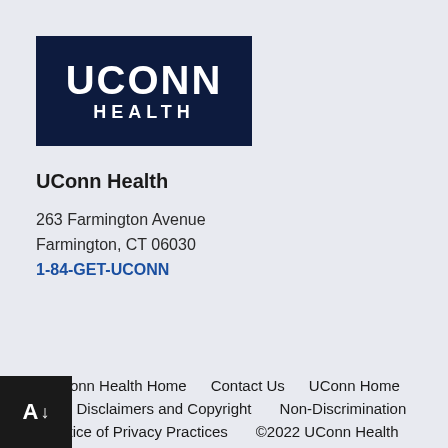[Figure (logo): UConn Health logo — dark navy rectangle with white bold UCONN text above white spaced HEALTH text]
UConn Health
263 Farmington Avenue
Farmington, CT 06030
1-84-GET-UCONN
UConn Health Home   Contact Us   UConn Home   Web Disclaimers and Copyright   Non-Discrimination   Notice of Privacy Practices   ©2022 UConn Health